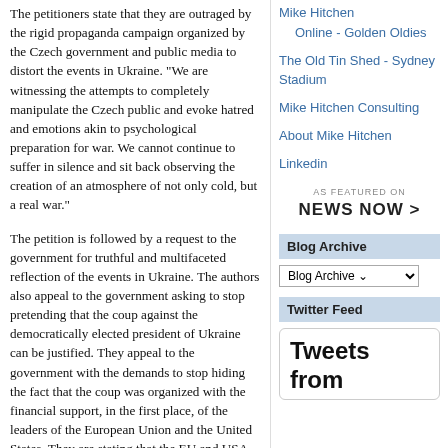The petitioners state that they are outraged by the rigid propaganda campaign organized by the Czech government and public media to distort the events in Ukraine. "We are witnessing the attempts to completely manipulate the Czech public and evoke hatred and emotions akin to psychological preparation for war. We cannot continue to suffer in silence and sit back observing the creation of an atmosphere of not only cold, but a real war."
The petition is followed by a request to the government for truthful and multifaceted reflection of the events in Ukraine. The authors also appeal to the government asking to stop pretending that the coup against the democratically elected president of Ukraine can be justified. They appeal to the government with the demands to stop hiding the fact that the coup was organized with the financial support, in the first place, of the leaders of the European Union and the United States. They are stating that the EU and USA are fully responsible for the current and subsequent events (Ukraine sliding into the economic abuse, and millions of Ukrainians falling into
Mike Hitchen
Online - Golden Oldies
The Old Tin Shed - Sydney Stadium
Mike Hitchen Consulting
About Mike Hitchen
Linkedin
[Figure (logo): AS FEATURED ON NewsNow logo with arrow]
Blog Archive
Blog Archive (dropdown)
Twitter Feed
Tweets from